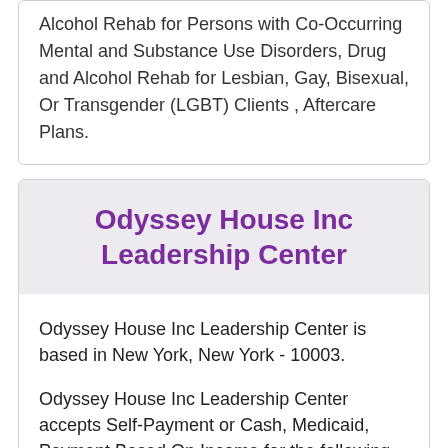Alcohol Rehab for Persons with Co-Occurring Mental and Substance Use Disorders, Drug and Alcohol Rehab for Lesbian, Gay, Bisexual, Or Transgender (LGBT) Clients , Aftercare Plans.
Odyssey House Inc Leadership Center
Odyssey House Inc Leadership Center is based in New York, New York - 10003.
Odyssey House Inc Leadership Center accepts Self-Payment or Cash, Medicaid, Payment Based On Income for the following